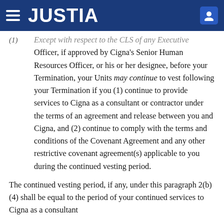JUSTIA
(1) Except with respect to the CLS of any Executive Officer, if approved by Cigna's Senior Human Resources Officer, or his or her designee, before your Termination, your Units may continue to vest following your Termination if you (1) continue to provide services to Cigna as a consultant or contractor under the terms of an agreement and release between you and Cigna, and (2) continue to comply with the terms and conditions of the Covenant Agreement and any other restrictive covenant agreement(s) applicable to you during the continued vesting period.
The continued vesting period, if any, under this paragraph 2(b)(4) shall be equal to the period of your continued services to Cigna as a consultant